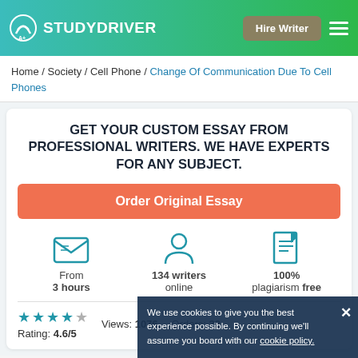STUDYDRIVER | Hire Writer
Home / Society / Cell Phone / Change Of Communication Due To Cell Phones
GET YOUR CUSTOM ESSAY FROM PROFESSIONAL WRITERS. WE HAVE EXPERTS FOR ANY SUBJECT.
Order Original Essay
From 3 hours
134 writers online
100% plagiarism free
Rating: 4.6/5
Views: 1076
Orders: 22
We use cookies to give you the best experience possible. By continuing we'll assume you board with our cookie policy.